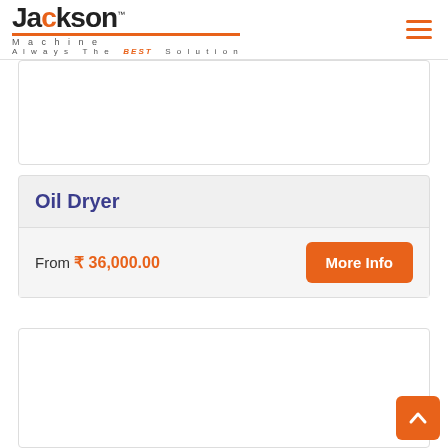Jackson Machine TM — Always The BEST Solution
[Figure (screenshot): Partially visible product card at top of page, white background with border]
Oil Dryer
From ₹ 36,000.00
[Figure (screenshot): Partially visible product card at bottom of page, white background with border]
Back to top button